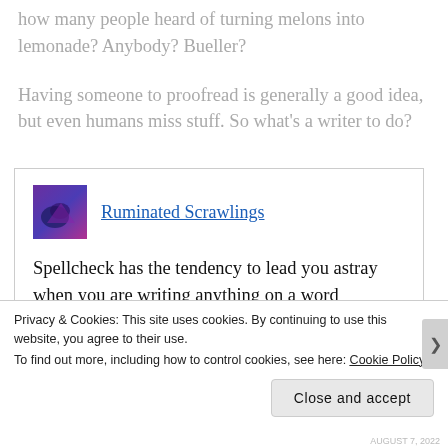how many people heard of turning melons into lemonade?  Anybody?  Bueller?
Having someone to proofread is generally a good idea, but even humans miss stuff.  So what's a writer to do?
[Figure (screenshot): Embedded blog post preview with logo and title 'Ruminated Scrawlings', followed by text: 'Spellcheck has the tendency to lead you astray when you are writing anything on a word processor program such as Microsoft Word. It may']
Privacy & Cookies: This site uses cookies. By continuing to use this website, you agree to their use.
To find out more, including how to control cookies, see here: Cookie Policy